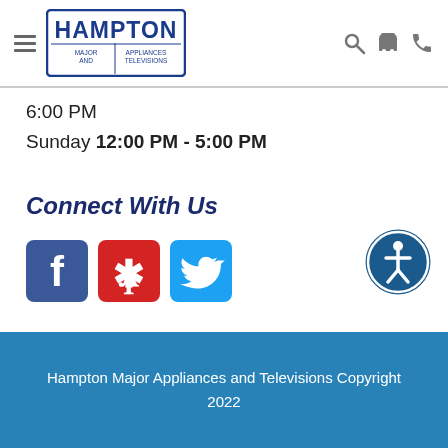[Figure (logo): Hampton Major Appliances and Televisions logo with hamburger menu and search/cart/phone icons in header]
6:00 PM
Sunday 12:00 PM - 5:00 PM
Connect With Us
[Figure (other): Social media icons: Facebook, Yelp, Twitter and accessibility icon button]
Hampton Major Appliances and Televisions Copyright 2022